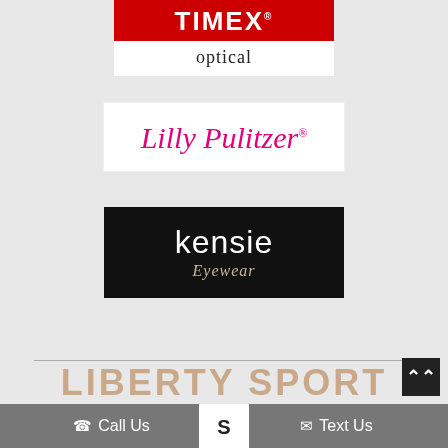[Figure (logo): TIMEX optical logo - red banner with white TIMEX text above, white area with 'optical' text below]
[Figure (logo): Lilly Pulitzer logo - white background with pink cursive script text]
[Figure (logo): kensie Eyewear logo - black background with white sans-serif 'kensie' and tan cursive 'Eyewear' script]
[Figure (logo): LIBERTY SPORT logo text in large tan/beige bold letters]
[Figure (logo): Small partially visible logo at bottom center between call and text buttons]